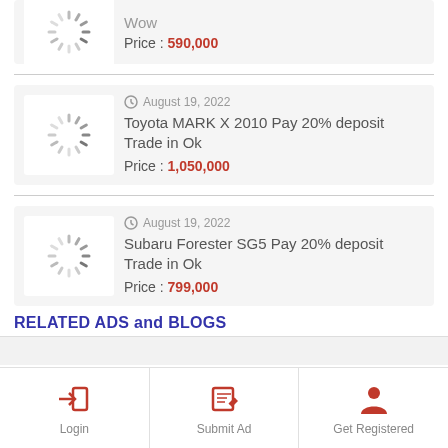[Figure (other): Partial listing card showing 'Wow' title with price 590,000]
Wow
Price : 590,000
[Figure (other): Car listing card - Toyota MARK X 2010 Pay 20% deposit Trade in Ok, August 19 2022, Price 1,050,000]
August 19, 2022
Toyota MARK X 2010 Pay 20% deposit Trade in Ok
Price : 1,050,000
[Figure (other): Car listing card - Subaru Forester SG5 Pay 20% deposit Trade in Ok, August 19 2022, Price 799,000]
August 19, 2022
Subaru Forester SG5 Pay 20% deposit Trade in Ok
Price : 799,000
RELATED ADS and BLOGS
Login
Submit Ad
Get Registered